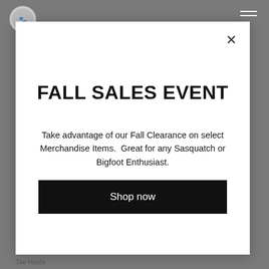FALL SALES EVENT
Take advantage of our Fall Clearance on select Merchandise Items.  Great for any Sasquatch or Bigfoot Enthusiast.
Shop now
Tae Haahr